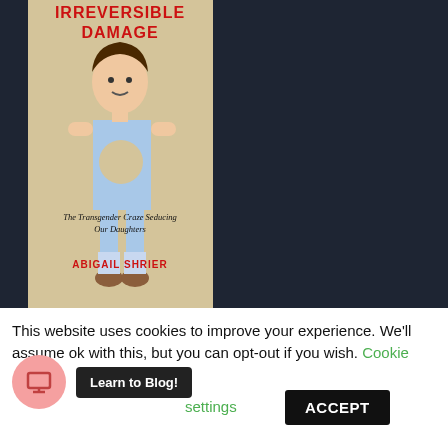[Figure (photo): Book cover of 'Irreversible Damage: The Transgender Craze Seducing Our Daughters' by Abigail Shrier. Shows a vintage-style illustration of a girl with a circular hole in her torso, on a tan/cream background. Title in red bold letters, subtitle in black italic, author name in red.]
This website uses cookies to improve your experience. We'll assume ok with this, but you can opt-out if you wish. Cookie settings
Learn to Blog!
ACCEPT